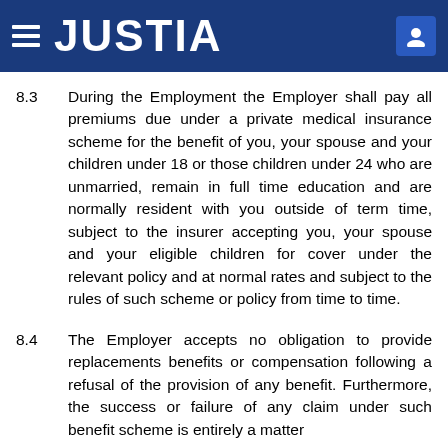JUSTIA
8.3   During the Employment the Employer shall pay all premiums due under a private medical insurance scheme for the benefit of you, your spouse and your children under 18 or those children under 24 who are unmarried, remain in full time education and are normally resident with you outside of term time, subject to the insurer accepting you, your spouse and your eligible children for cover under the relevant policy and at normal rates and subject to the rules of such scheme or policy from time to time.
8.4   The Employer accepts no obligation to provide replacements benefits or compensation following a refusal of the provision of any benefit. Furthermore, the success or failure of any claim under such benefit scheme is entirely a matter